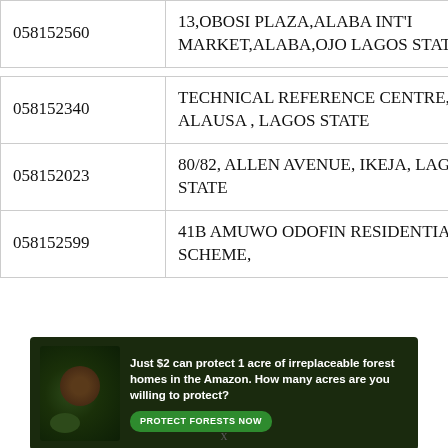| 058152560 | 13,OBOSI PLAZA,ALABA INT'I MARKET,ALABA,OJO LAGOS STATE |
| 058152340 | TECHNICAL REFERENCE CENTRE, ALAUSA , LAGOS STATE |
| 058152023 | 80/82, ALLEN AVENUE, IKEJA, LAGOS STATE |
| 058152599 | 41B AMUWO ODOFIN RESIDENTIAL SCHEME, |
[Figure (infographic): Advertisement banner for forest protection: 'Just $2 can protect 1 acre of irreplaceable forest homes in the Amazon. How many acres are you willing to protect?' with a green button 'PROTECT FORESTS NOW' and an image of a primate in dense forest.]